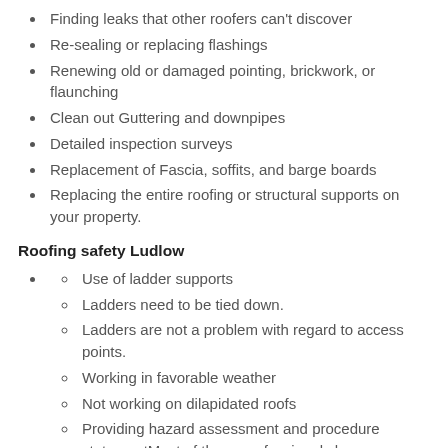Finding leaks that other roofers can't discover
Re-sealing or replacing flashings
Renewing old or damaged pointing, brickwork, or flaunching
Clean out Guttering and downpipes
Detailed inspection surveys
Replacement of Fascia, soffits, and barge boards
Replacing the entire roofing or structural supports on your property.
Roofing safety Ludlow
Use of ladder supports
Ladders need to be tied down.
Ladders are not a problem with regard to access points.
Working in favorable weather
Not working on dilapidated roofs
Providing hazard assessment and procedure statementMost of these professionals have